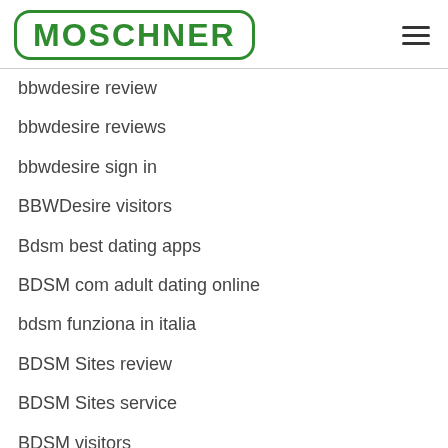[Figure (logo): MOSCHNER logo in green with rounded rectangle border]
bbwdesire review
bbwdesire reviews
bbwdesire sign in
BBWDesire visitors
Bdsm best dating apps
BDSM com adult dating online
bdsm funziona in italia
BDSM Sites review
BDSM Sites service
BDSM visitors
bdsm.com app
bdsm.com review